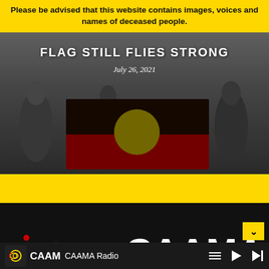Please be advised that this website contains images, voices and names of deceased people.
FLAG STILL FLIES STRONG
July 26, 2021
[Figure (photo): Black and white photograph of people holding the Aboriginal flag (black top half, red bottom half, yellow circle center), with a yellow stripe below and CAAMA logo on dark background]
[Figure (logo): CAAMA logo - Central Australian Aboriginal Media Association. Yellow and red circular Aboriginal dot art symbol on left, large white CAAMA text on right, with full name below in smaller text]
CAAMA Radio